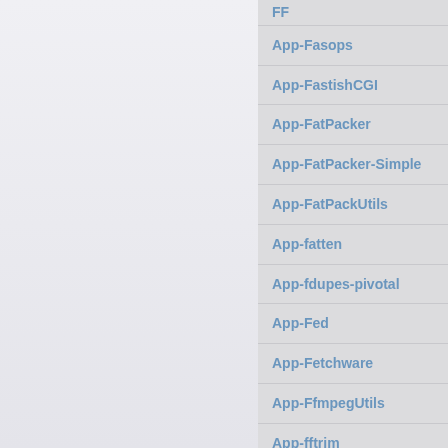App-Fasops
App-FastishCGI
App-FatPacker
App-FatPacker-Simple
App-FatPackUtils
App-fatten
App-fdupes-pivotal
App-Fed
App-Fetchware
App-FfmpegUtils
App-fftrim
App-fiatx